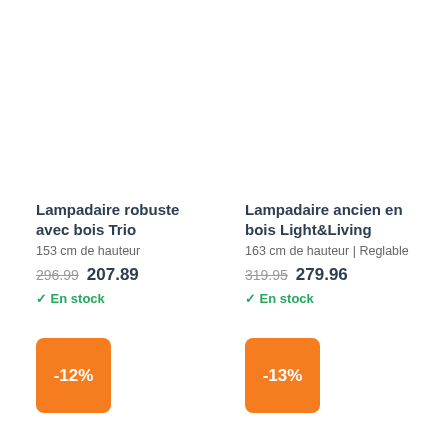Lampadaire robuste avec bois Trio
153 cm de hauteur
296.99  207.89
✓ En stock
Lampadaire ancien en bois Light&Living
163 cm de hauteur | Reglable
319.95  279.96
✓ En stock
-12%
-13%